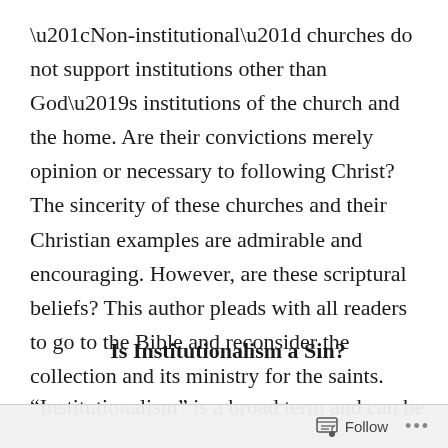“Non-institutional” churches do not support institutions other than God’s institutions of the church and the home. Are their convictions merely opinion or necessary to following Christ? The sincerity of these churches and their Christian examples are admirable and encouraging. However, are these scriptural beliefs? This author pleads with all readers to go to the Bible and reconsider the collection and its ministry for the saints.
Is Institutionalism a Sin?
“Institutionalism” is a broad term and can be